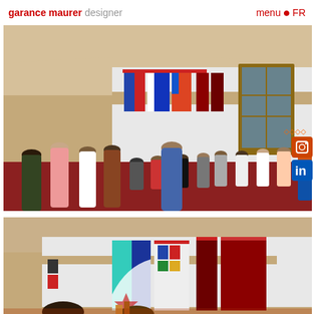garance maurer designer   menu • FR
[Figure (photo): Gallery exhibition opening with many visitors standing and mingling in a large room with terracotta floor, white walls, and colorful textile/fabric artworks displayed on the walls. A wooden door with glass panes is visible in the background.]
[Figure (photo): Close-up view of the same gallery exhibition showing colorful textile artworks hanging on white walls — blue, teal, and dark red/maroon fabric panels — mounted on a white partition wall against a tan/beige wall. Visitor heads visible at the bottom.]